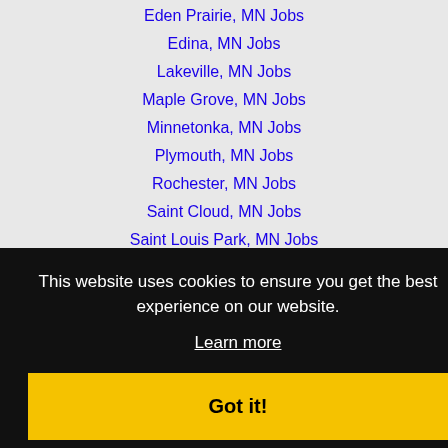Eden Prairie, MN Jobs
Edina, MN Jobs
Lakeville, MN Jobs
Maple Grove, MN Jobs
Minnetonka, MN Jobs
Plymouth, MN Jobs
Rochester, MN Jobs
Saint Cloud, MN Jobs
Saint Louis Park, MN Jobs
This website uses cookies to ensure you get the best experience on our website.
Learn more
Got it!
Copyright © 2001 - 2022 Recruiter Media Corporation -